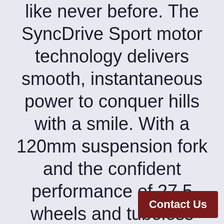like never before. The SyncDrive Sport motor technology delivers smooth, instantaneous power to conquer hills with a smile. With a 120mm suspension fork and the confident performance of 27.5 wheels and tubeless tires, if offers smooth control and handling. The side-release EnergyPak Smart is seamlessly integrated into the frame and can be easily
Contact Us